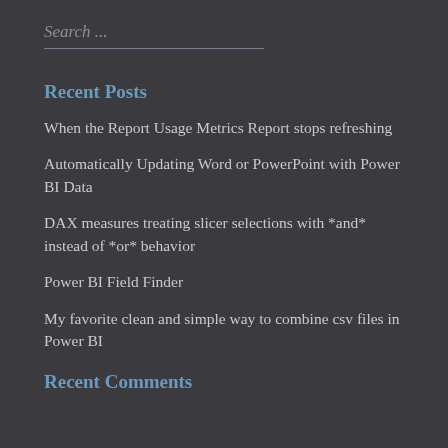Search ...
Recent Posts
When the Report Usage Metrics Report stops refreshing
Automatically Updating Word or PowerPoint with Power BI Data
DAX measures treating slicer selections with *and* instead of *or* behavior
Power BI Field Finder
My favorite clean and simple way to combine csv files in Power BI
Recent Comments